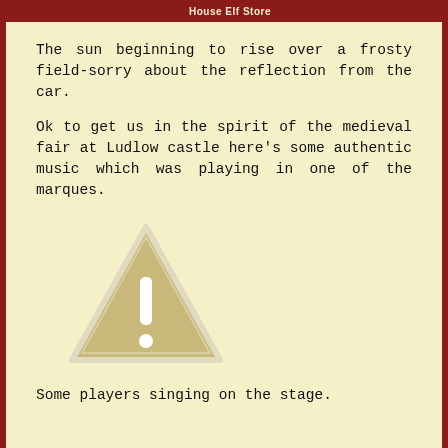House Elf Store
The sun beginning to rise over a frosty field-sorry about the reflection from the car.
Ok to get us in the spirit of the medieval fair at Ludlow castle here's some authentic music which was playing in one of the marques.
[Figure (illustration): A warning triangle icon with an exclamation mark, rendered in beige/tan with a white border outline.]
Some players singing on the stage.